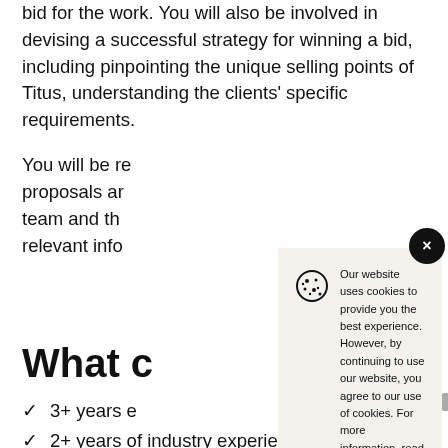bid for the work. You will also be involved in devising a successful strategy for winning a bid, including pinpointing the unique selling points of Titus, understanding the clients' specific requirements.
You will be re proposals ar team and th relevant info
What c
3+ years e
2+ years of industry experience
[Figure (screenshot): Cookie consent dialog popup with cookie icon, text about website cookies policy, a Cookie Policy link, and an Accept button. There is also an X close button in the top right corner.]